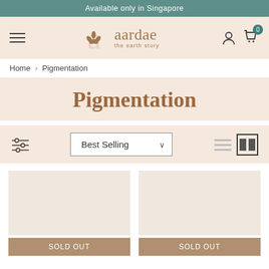Available only in Singapore
[Figure (logo): Aardae brand logo with leaf motif and tagline 'the earth story']
Home > Pigmentation
Pigmentation
Best Selling (sort dropdown)
SOLD OUT
SOLD OUT